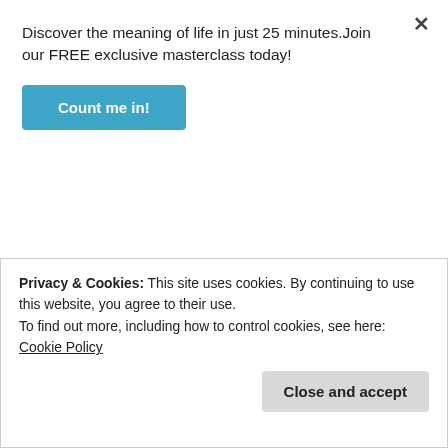Discover the meaning of life in just 25 minutes.Join our FREE exclusive masterclass today!
Count me in!
You need to stop taking the Bible out of context. It's very clear what is said, and only with significant twisting can you attempt to even suggest that Jephthas daughter wasn't sacrificed.
Like
Privacy & Cookies: This site uses cookies. By continuing to use this website, you agree to their use.
To find out more, including how to control cookies, see here: Cookie Policy
Close and accept
May 27, 2018 at 12:46 pm